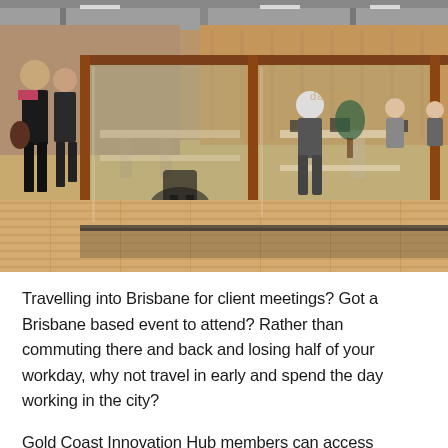[Figure (photo): Interior photo of a modern co-working office space with glass-walled meeting rooms, timber flooring, wooden frame details, people walking and working at desks, open-plan layout with industrial ceiling]
Travelling into Brisbane for client meetings?  Got a Brisbane based event to attend?  Rather than commuting there and back and losing half of your workday, why not travel in early and spend the day working in the city?
Gold Coast Innovation Hub members can access